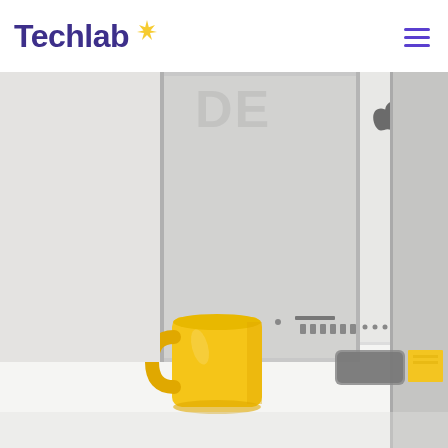Techlab
[Figure (photo): A desk scene showing the back of an Apple iMac monitor with a bright yellow coffee mug on a white desk surface. The iMac displays the Apple logo and port connections. Partly visible text 'DE' appears behind the monitor. A phone and yellow sticky notes are on the desk.]